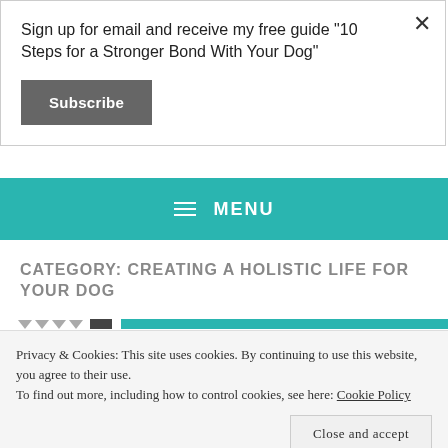Sign up for email and receive my free guide "10 Steps for a Stronger Bond With Your Dog"
Subscribe
≡ MENU
CATEGORY: CREATING A HOLISTIC LIFE FOR YOUR DOG
Privacy & Cookies: This site uses cookies. By continuing to use this website, you agree to their use.
To find out more, including how to control cookies, see here: Cookie Policy
Close and accept